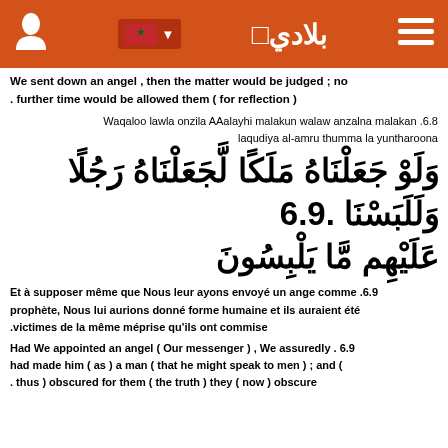بلادي (Bladi) - header with logo, flag, and menu icons
We sent down an angel , then the matter would be judged ; no . further time would be allowed them ( for reflection )
Waqaloo lawla onzila AAalayhi malakun walaw anzalna malakan .6.8 laqudiya al-amru thumma la yuntharoona
وَلَوْ جَعَلْنَاهُ مَلَكًا لَّجَعَلْنَاهُ رَجُلًا وَلَلَبَسْنَا عَلَيْهِم مَّا يَلْبِسُونَ 6.9
Et à supposer même que Nous leur ayons envoyé un ange comme .6.9 prophète, Nous lui aurions donné forme humaine et ils auraient été .victimes de la même méprise qu'ils ont commise
Had We appointed an angel ( Our messenger ) , We assuredly . 6.9 had made him ( as ) a man ( that he might speak to men ) ; and ( . thus ) obscured for them ( the truth ) they ( now ) obscure